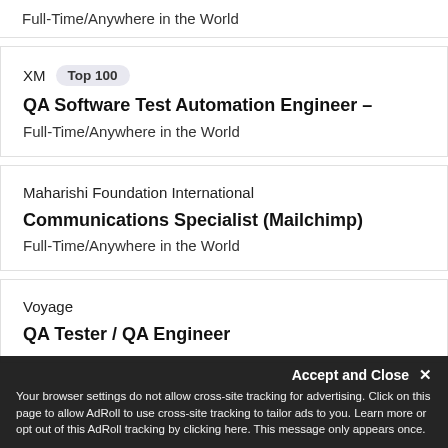Full-Time/Anywhere in the World
XM  Top 100
QA Software Test Automation Engineer –
Full-Time/Anywhere in the World
Maharishi Foundation International
Communications Specialist (Mailchimp)
Full-Time/Anywhere in the World
Voyage
QA Tester / QA Engineer
Accept and Close ×
Your browser settings do not allow cross-site tracking for advertising. Click on this page to allow AdRoll to use cross-site tracking to tailor ads to you. Learn more or opt out of this AdRoll tracking by clicking here. This message only appears once.